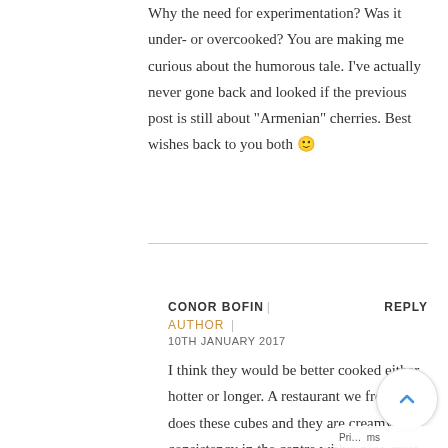Why the need for experimentation? Was it under- or overcooked? You are making me curious about the humorous tale. I've actually never gone back and looked if the previous post is still about "Armenian" cherries. Best wishes back to you both 🙂
CONOR BOFIN | REPLY
AUTHOR |
10TH JANUARY 2017
I think they would be better cooked either hotter or longer. A restaurant we frequent does these cubes and they are creamy consistency in the centre with a nice crust. I want to recreate